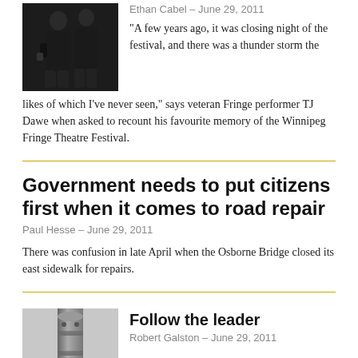[Figure (photo): Two people dressed in black clothing, standing together, appears to be performers]
Ethan Cabel – June 29, 2011
“A few years ago, it was closing night of the festival, and there was a thunder storm the likes of which I’ve never seen,” says veteran Fringe performer TJ Dawe when asked to recount his favourite memory of the Winnipeg Fringe Theatre Festival.
Government needs to put citizens first when it comes to road repair
Paul Hesse – June 29, 2011
There was confusion in late April when the Osborne Bridge closed its east sidewalk for repairs.
[Figure (photo): A tall cylindrical tower or structure photographed from below against a light sky]
Follow the leader
Robert Galston – June 29, 2011